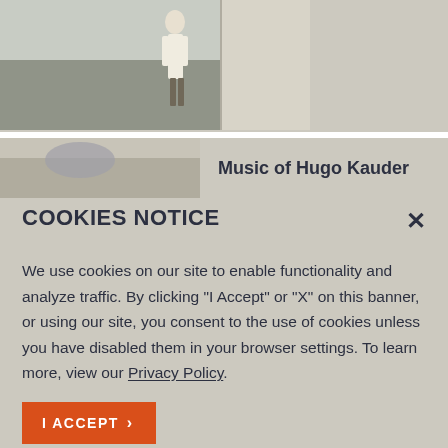[Figure (photo): Old black-and-white photo of a person standing outdoors near a building]
[Figure (photo): Small partial photo of an outdoor scene]
Music of Hugo Kauder
COOKIES NOTICE
We use cookies on our site to enable functionality and analyze traffic. By clicking “I Accept” or “X” on this banner, or using our site, you consent to the use of cookies unless you have disabled them in your browser settings. To learn more, view our Privacy Policy.
I ACCEPT >